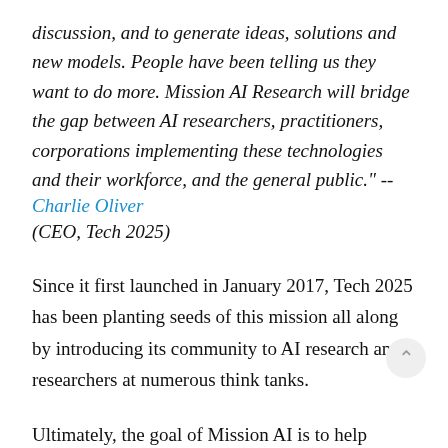discussion, and to generate ideas, solutions and new models. People have been telling us they want to do more. Mission AI Research will bridge the gap between AI researchers, practitioners, corporations implementing these technologies and their workforce, and the general public." -- Charlie Oliver (CEO, Tech 2025)
Since it first launched in January 2017, Tech 2025 has been planting seeds of this mission all along by introducing its community to AI research and researchers at numerous think tanks.
Ultimately, the goal of Mission AI is to help people to become more literate, confident and engaged in AI research so that they can become more informed, creative problem-